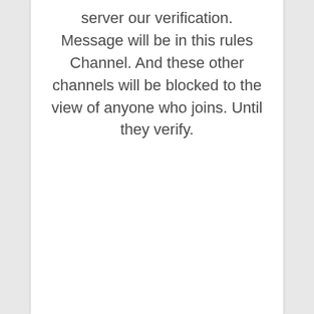server our verification. Message will be in this rules Channel. And these other channels will be blocked to the view of anyone who joins. Until they verify.